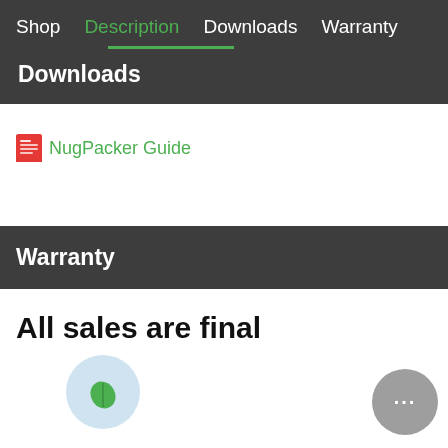Shop  Description  Downloads  Warranty
Downloads
NugPacker Guide
Warranty
All sales are final